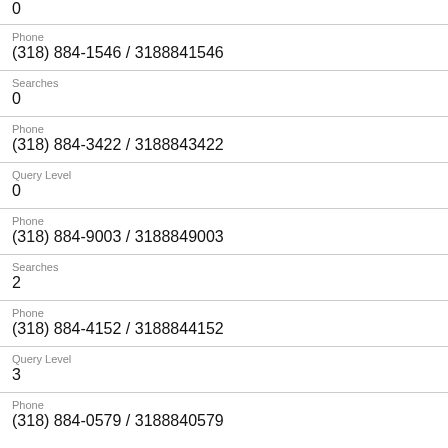0
Phone
(318) 884-1546 / 3188841546
Searches
0
Phone
(318) 884-3422 / 3188843422
Query Level
0
Phone
(318) 884-9003 / 3188849003
Searches
2
Phone
(318) 884-4152 / 3188844152
Query Level
3
Phone
(318) 884-0579 / 3188840579